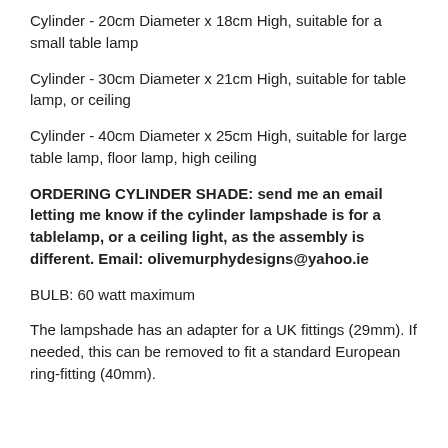Cylinder - 20cm Diameter x 18cm High, suitable for a small table lamp
Cylinder - 30cm Diameter x 21cm High, suitable for table lamp, or ceiling
Cylinder - 40cm Diameter x 25cm High, suitable for large table lamp, floor lamp, high ceiling
ORDERING CYLINDER SHADE: send me an email letting me know if the cylinder lampshade is for a tablelamp, or a ceiling light, as the assembly is different. Email: olivemurphydesigns@yahoo.ie
BULB: 60 watt maximum
The lampshade has an adapter for a UK fittings (29mm). If needed, this can be removed to fit a standard European ring-fitting (40mm).